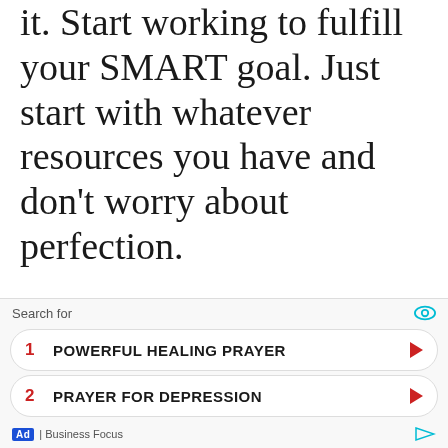it. Start working to fulfill your SMART goal. Just start with whatever resources you have and don't worry about perfection.
Step #6: Re-Evaluate The Progress You've Made.
You may not need this step if
[Figure (other): Advertisement overlay with search bar showing 'Search for' with eye icon, two ad items: 1. POWERFUL HEALING PRAYER, 2. PRAYER FOR DEPRESSION, and footer showing Ad | Business Focus]
Ad | Business Focus